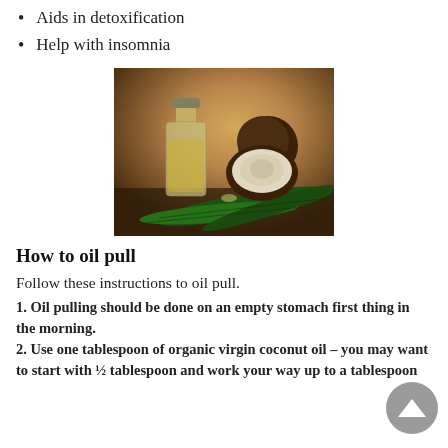Aids in detoxification
Help with insomnia
[Figure (photo): Photo of a glass bottle of coconut oil beside halved and whole coconuts with green palm leaves on a wooden surface with warm brown background]
How to oil pull
Follow these instructions to oil pull.
1. Oil pulling should be done on an empty stomach first thing in the morning.
2. Use one tablespoon of organic virgin coconut oil – you may want to start with ½ tablespoon and work your way up to a tablespoon